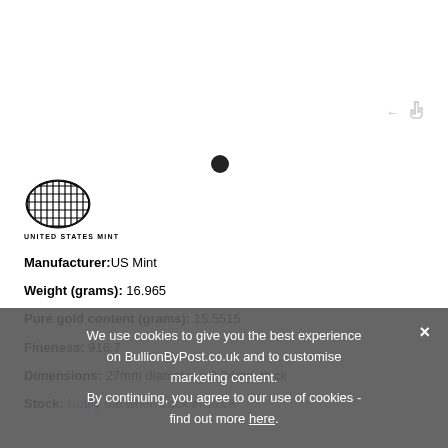[Figure (logo): United States Mint oval logo with striped pattern and UNITED STATES MINT text below]
Manufacturer: US Mint
Weight (grams): 16.965
Pure gold content (grams): 15.5515
Fineness: 916.7
Dimensions: 27mm diameter x 2.24mm thick
Stock: Notify me when back in stock
We use cookies to give you the best experience on BullionByPost.co.uk and to customise marketing content. By continuing, you agree to our use of cookies - find out more here.